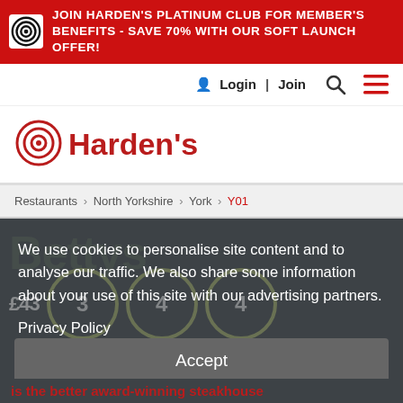JOIN HARDEN'S PLATINUM CLUB FOR MEMBER'S BENEFITS - SAVE 70% WITH OUR SOFT LAUNCH OFFER!
Login | Join
[Figure (logo): Harden's restaurant guide logo with target/bullseye icon]
Restaurants > North Yorkshire > York > Y01
We use cookies to personalise site content and to analyse our traffic. We also share some information about your use of this site with our advertising partners.
Privacy Policy
Accept
is the better award-winning steakhouse